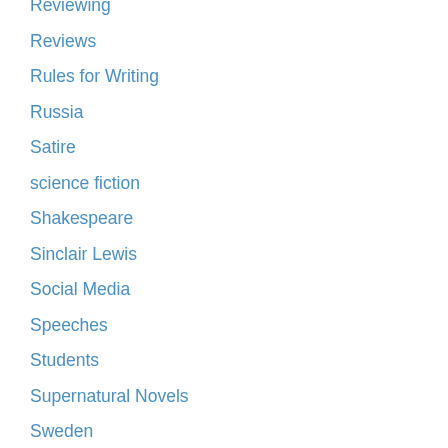Reviewing
Reviews
Rules for Writing
Russia
Satire
science fiction
Shakespeare
Sinclair Lewis
Social Media
Speeches
Students
Supernatural Novels
Sweden
teaching
Team of Rivals
The New York Times
The Plague
The Undoing